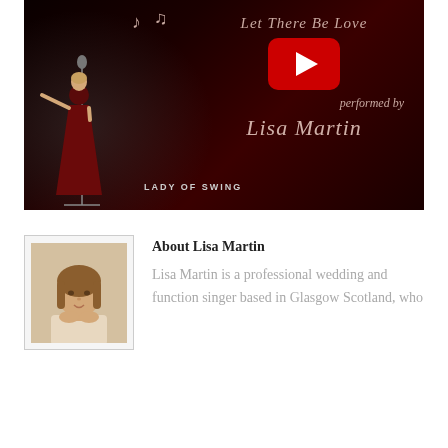[Figure (screenshot): YouTube video thumbnail for 'Let There Be Love' performed by Lisa Martin – Lady of Swing. Dark red background with a woman in a red dress holding a microphone stand, music notes, and a YouTube play button in the center.]
[Figure (photo): Portrait photo of Lisa Martin, a woman with brown hair resting her chin on her hands, looking at the camera.]
About Lisa Martin
Lisa Martin is a professional wedding and function singer based in Glasgow Scotland, who